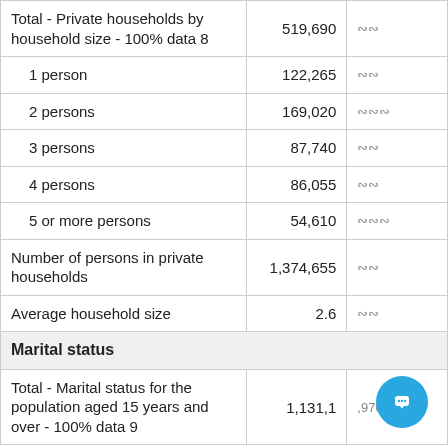|  | Column1 | Column2 |
| --- | --- | --- |
| Total - Private households by household size - 100% data [8] | 519,690 | ... |
| 1 person | 122,265 | ... |
| 2 persons | 169,020 | ... |
| 3 persons | 87,740 | ... |
| 4 persons | 86,055 | ... |
| 5 or more persons | 54,610 | ... |
| Number of persons in private households | 1,374,655 | ... |
| Average household size | 2.6 | ... |
| Marital status |  |  |
| Total - Marital status for the population aged 15 years and over - 100% data [9] | 1,131,1... | ...970 |